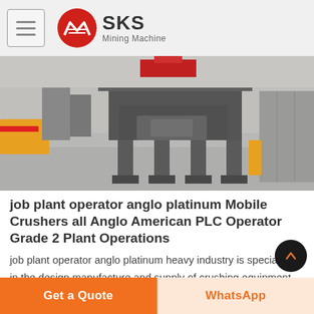SKS Mining Machine
[Figure (photo): Industrial mining machine / crusher on a factory floor with grey epoxy flooring, yellow barriers visible on the left, grey metal equipment in the center and right side.]
job plant operator anglo platinum Mobile Crushers all Anglo American PLC Operator Grade 2 Plant Operations
job plant operator anglo platinum heavy industry is specialized in the design manufacture and supply of crushing equipment used in mining industryAnglo American PLC South Africa is a multi national mining
Get a Quote | WhatsApp